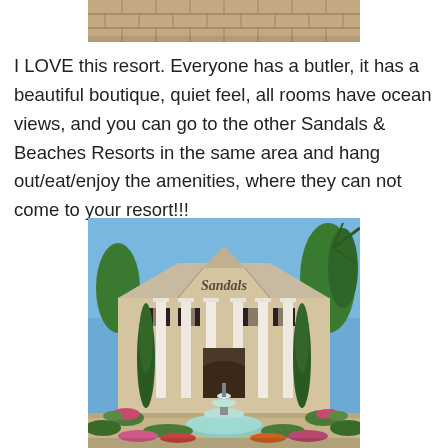[Figure (photo): Top portion of a photo showing a brick/paved walkway or pathway, cropped at top of page]
I LOVE this resort. Everyone has a butler, it has a beautiful boutique, quiet feel, all rooms have ocean views, and you can go to the other Sandals & Beaches Resorts in the same area and hang out/eat/enjoy the amenities, where they can not come to your resort!!!
[Figure (photo): Photo of Sandals resort entrance featuring a white colonial-style building with columns, 'Sandals' script signage, tall cypress trees, a decorative fountain in the foreground, and tropical landscaping with flowers]